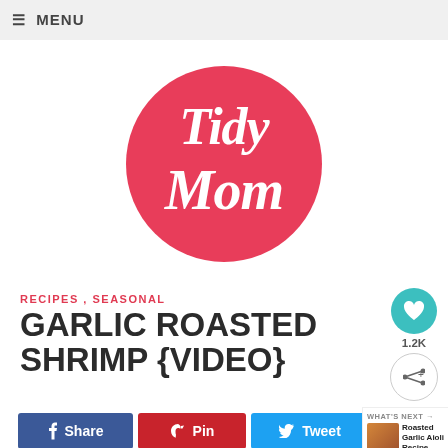≡ MENU
[Figure (logo): TidyMom logo: white cursive text 'Tidy Mom' on a coral/pink circle]
RECIPES , SEASONAL
GARLIC ROASTED SHRIMP {VIDEO}
[Figure (infographic): Social share buttons: Facebook Share, Pinterest Pin, Twitter Tweet]
[Figure (infographic): What's Next panel: Roasted Garlic Aioli Recipe]
[Figure (infographic): Heart/like button with count 1.2K and share button]
[Figure (infographic): Advertisement: Walgreens - Wellness Products That Work As Hard As You]
1.2K SHARES